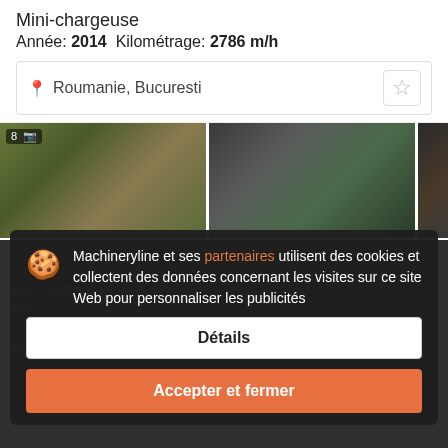Mini-chargeuse
Année: 2014  Kilométrage: 2786 m/h
Roumanie, Bucuresti
[Figure (photo): Photos of a mini-chargeuse (skid-steer loader / bobcat) with 8 images indicated]
BOBCAT S130
22 500 €  TVA incluse
Mini-chargeuse
Roumanie, Bucuresti
Machineryline et ses partenaires utilisent des cookies et collectent des données concernant les visites sur ce site Web pour personnaliser les publicités
Détails
Accepter et fermer